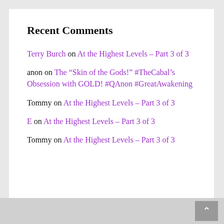Recent Comments
Terry Burch on At the Highest Levels – Part 3 of 3
anon on The “Skin of the Gods!” #TheCabal’s Obsession with GOLD! #QAnon #GreatAwakening
Tommy on At the Highest Levels – Part 3 of 3
E on At the Highest Levels – Part 3 of 3
Tommy on At the Highest Levels – Part 3 of 3